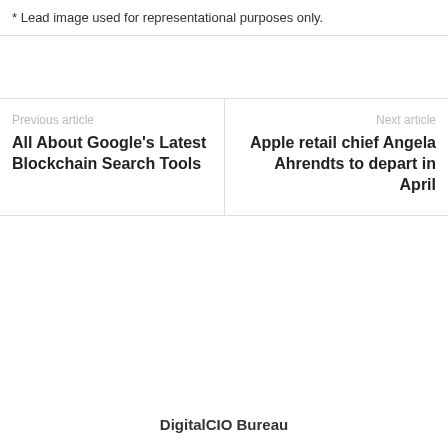* Lead image used for representational purposes only.
Previous article
All About Google's Latest Blockchain Search Tools
Next article
Apple retail chief Angela Ahrendts to depart in April
DigitalCIO Bureau